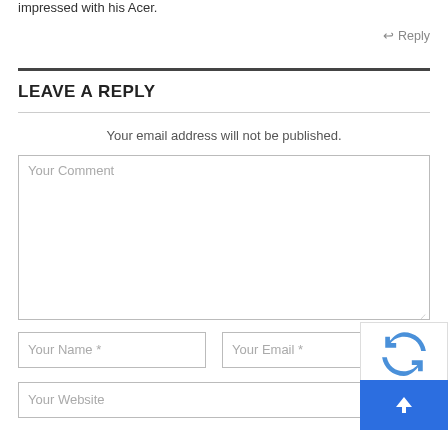impressed with his Acer.
↩ Reply
LEAVE A REPLY
Your email address will not be published.
Your Comment
Your Name *
Your Email *
Your Website